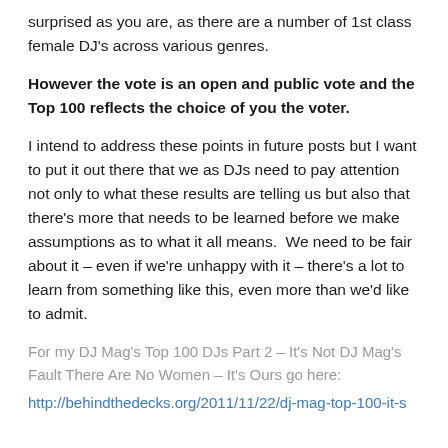surprised as you are, as there are a number of 1st class female DJ's across various genres.
However the vote is an open and public vote and the Top 100 reflects the choice of you the voter.
I intend to address these points in future posts but I want to put it out there that we as DJs need to pay attention not only to what these results are telling us but also that there's more that needs to be learned before we make assumptions as to what it all means.  We need to be fair about it – even if we're unhappy with it – there's a lot to learn from something like this, even more than we'd like to admit.
For my DJ Mag's Top 100 DJs Part 2 – It's Not DJ Mag's Fault There Are No Women – It's Ours go here:
http://behindthedecks.org/2011/11/22/dj-mag-top-100-it-s